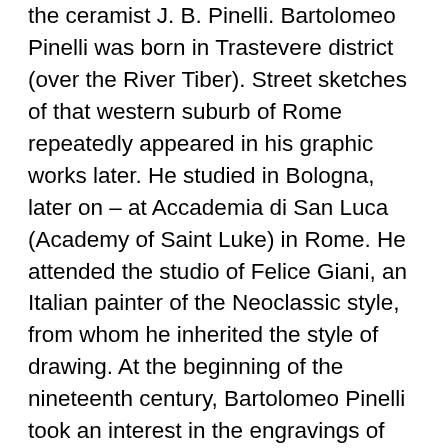the ceramist J. B. Pinelli. Bartolomeo Pinelli was born in Trastevere district (over the River Tiber). Street sketches of that western suburb of Rome repeatedly appeared in his graphic works later. He studied in Bologna, later on – at Accademia di San Luca (Academy of Saint Luke) in Rome. He attended the studio of Felice Giani, an Italian painter of the Neoclassic style, from whom he inherited the style of drawing. At the beginning of the nineteenth century, Bartolomeo Pinelli took an interest in the engravings of the Renaissance, namely in the works by Marcantonio Raimondi, and started making etchings and lithographs out of his drawings. In 1809, Pinelli created his first series of watercolor etchings – Collection of 50 picturesque costumes (Raccola di cinquanta costumi pittoreschi). The album was reissued in 1814 and 1815. In 1816, a new version of the album under the title Nuova Raccolta di Cinquanta costumi pittoreschi incisi di